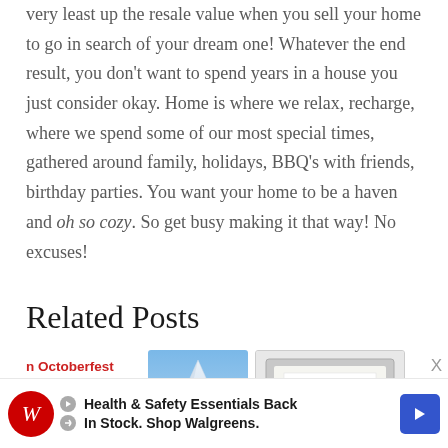very least up the resale value when you sell your home to go in search of your dream one! Whatever the end result, you don't want to spend years in a house you just consider okay. Home is where we relax, recharge, where we spend some of our most special times, gathered around family, holidays, BBQ's with friends, birthday parties. You want your home to be a haven and oh so cozy. So get busy making it that way! No excuses!
Related Posts
[Figure (photo): Text snippet showing partially visible blog post title 'Octoberfest Half Marathon Recap' in red on white background]
[Figure (photo): Thumbnail photo of a snowy mountain slope with a person skiing or snowboarding]
[Figure (photo): Thumbnail showing a framed certificate or document with a grey/silver metallic border on a light background]
Health & Safety Essentials Back In Stock. Shop Walgreens.